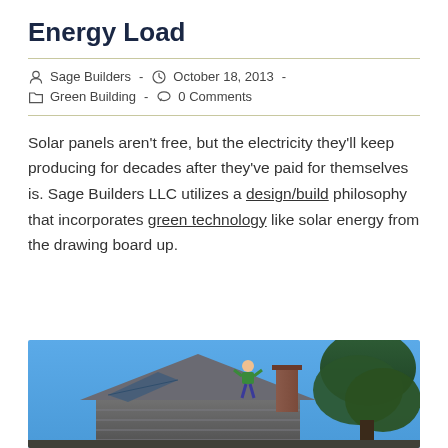Energy Load
Sage Builders  -  October 18, 2013  -  Green Building  -  0 Comments
Solar panels aren't free, but the electricity they'll keep producing for decades after they've paid for themselves is. Sage Builders LLC utilizes a design/build philosophy that incorporates green technology like solar energy from the drawing board up.
[Figure (photo): A person in a green shirt working on a rooftop, with a house gable visible against a blue sky and a large green tree on the right side.]